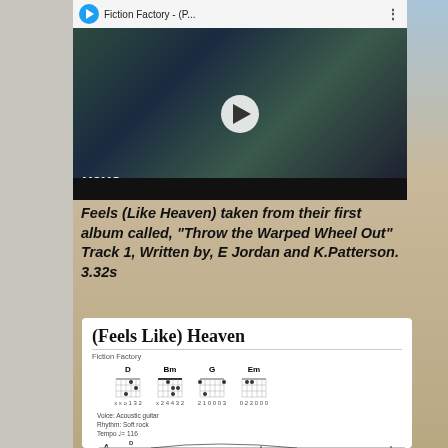[Figure (screenshot): YouTube/Vevo video thumbnail for Fiction Factory - (P... showing 'Feels (Like Heaven)' music video with dark scene and play button, vevo branding at bottom left]
Feels (Like Heaven) taken from their first album called, "Throw the Warped Wheel Out" Track 1, Written by, E Jordan and K.Patterson. 3.32s
[Figure (other): Sheet music card for '(Feels Like) Heaven' by Fiction Factory showing chord diagrams for D, Bm, G, Em and musical staff notation with lyrics 'Heav-en is clos-er now to-day']